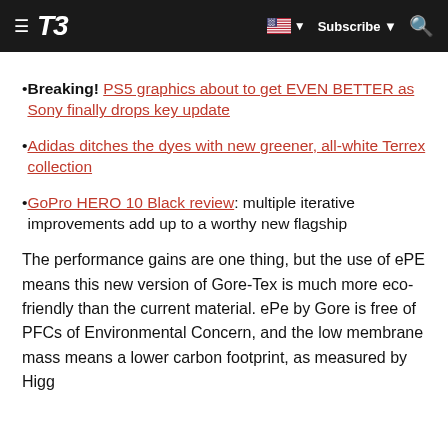T3 | Subscribe
Breaking! PS5 graphics about to get EVEN BETTER as Sony finally drops key update
Adidas ditches the dyes with new greener, all-white Terrex collection
GoPro HERO 10 Black review: multiple iterative improvements add up to a worthy new flagship
The performance gains are one thing, but the use of ePE means this new version of Gore-Tex is much more eco-friendly than the current material. ePe by Gore is free of PFCs of Environmental Concern, and the low membrane mass means a lower carbon footprint, as measured by Higg